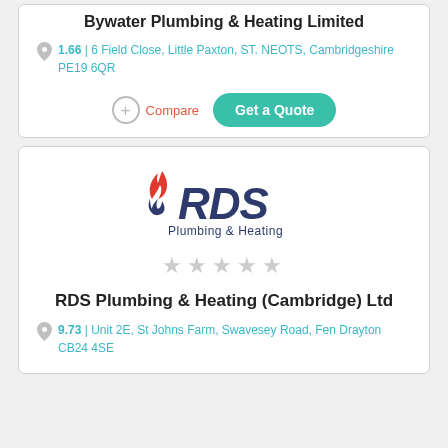Bywater Plumbing & Heating Limited
1.66 | 6 Field Close, Little Paxton, ST. NEOTS, Cambridgeshire PE19 6QR
Compare | Get a Quote
[Figure (logo): RDS Plumbing & Heating logo with flame icon and italic bold text]
★★★★★ (empty stars)
RDS Plumbing & Heating (Cambridge) Ltd
9.73 | Unit 2E, St Johns Farm, Swavesey Road, Fen Drayton CB24 4SE